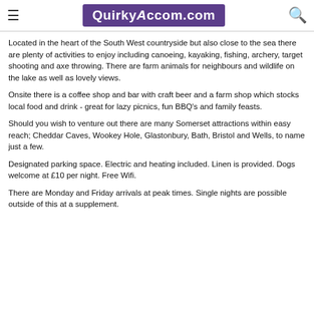QuirkyAccom.com
Located in the heart of the South West countryside but also close to the sea there are plenty of activities to enjoy including canoeing, kayaking, fishing, archery, target shooting and axe throwing. There are farm animals for neighbours and wildlife on the lake as well as lovely views.
Onsite there is a coffee shop and bar with craft beer and a farm shop which stocks local food and drink - great for lazy picnics, fun BBQ's and family feasts.
Should you wish to venture out there are many Somerset attractions within easy reach; Cheddar Caves, Wookey Hole, Glastonbury, Bath, Bristol and Wells, to name just a few.
Designated parking space. Electric and heating included. Linen is provided. Dogs welcome at £10 per night. Free Wifi.
There are Monday and Friday arrivals at peak times. Single nights are possible outside of this at a supplement.